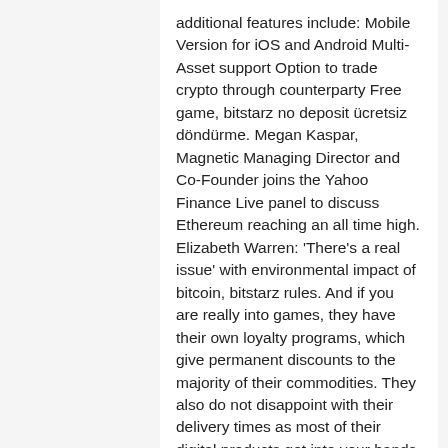additional features include: Mobile Version for iOS and Android Multi-Asset support Option to trade crypto through counterparty Free game, bitstarz no deposit ücretsiz döndürme. Megan Kaspar, Magnetic Managing Director and Co-Founder joins the Yahoo Finance Live panel to discuss Ethereum reaching an all time high. Elizabeth Warren: 'There's a real issue' with environmental impact of bitcoin, bitstarz rules. And if you are really into games, they have their own loyalty programs, which give permanent discounts to the majority of their commodities. They also do not disappoint with their delivery times as most of their digital products get into your hands in merely 5-10 minutes, bitstarz ingen insättningsbonus codes. So there's just as much chance that a move can work in your favor. Withdrawals can sometimes take longer than with traditional currencies, such